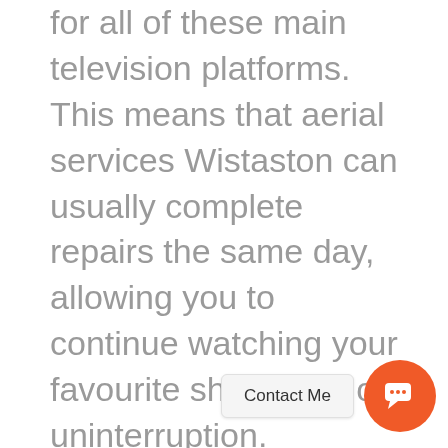for all of these main television platforms. This means that aerial services Wistaston can usually complete repairs the same day, allowing you to continue watching your favourite shows without uninterruption.
[Figure (other): Orange circular chat/contact button with speech bubble icon, and a 'Contact Me' pill button to its left]